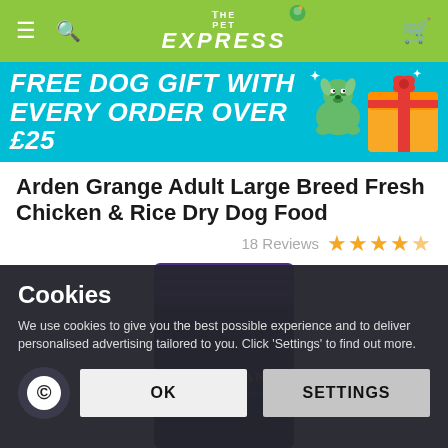THE PET EXPRESS
[Figure (infographic): Promotional banner: FREE DOG GIFT WITH EVERY ORDER OVER £25 on teal background with cartoon dog and gift box illustration]
Arden Grange Adult Large Breed Fresh Chicken & Rice Dry Dog Food
18 Reviews ★★★★★
[Figure (photo): Arden Grange dog food bag, dark navy/purple packaging with purple ribbed top]
Cookies
We use cookies to give you the best possible experience and to deliver personalised advertising tailored to you. Click 'Settings' to find out more.
OK   SETTINGS